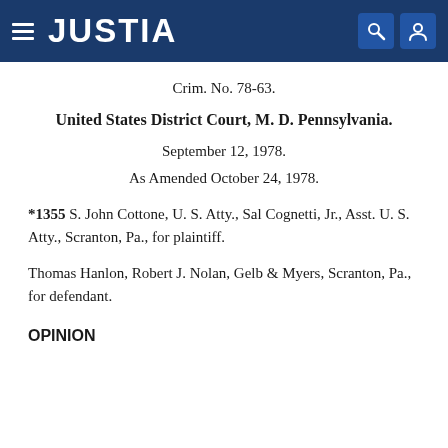JUSTIA
Crim. No. 78-63.
United States District Court, M. D. Pennsylvania.
September 12, 1978.
As Amended October 24, 1978.
*1355 S. John Cottone, U. S. Atty., Sal Cognetti, Jr., Asst. U. S. Atty., Scranton, Pa., for plaintiff.
Thomas Hanlon, Robert J. Nolan, Gelb & Myers, Scranton, Pa., for defendant.
OPINION